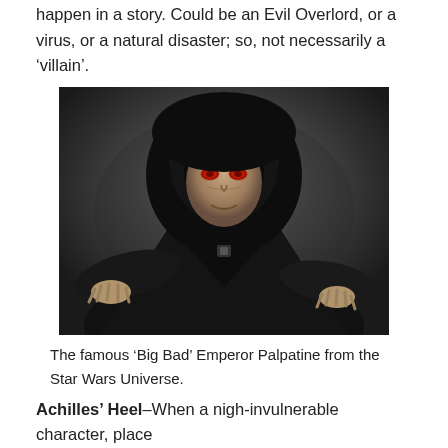happen in a story. Could be an Evil Overlord, or a virus, or a natural disaster; so, not necessarily a ‘villain’.
[Figure (photo): Photo of Emperor Palpatine from Star Wars, dressed in a black hooded robe with hands outstretched, red eyes visible under the hood, against a dark grey background.]
The famous ‘Big Bad’ Emperor Palpatine from the Star Wars Universe.
Achilles’ Heel–When a nigh-invulnerable character, place